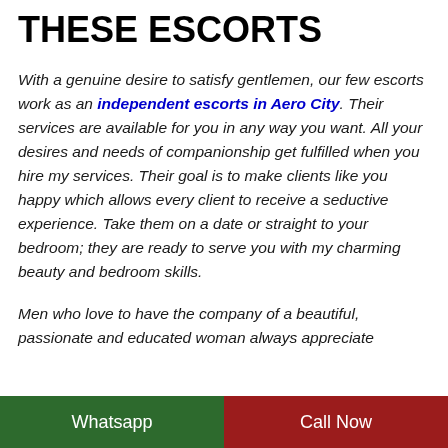THESE ESCORTS
With a genuine desire to satisfy gentlemen, our few escorts work as an independent escorts in Aero City. Their services are available for you in any way you want. All your desires and needs of companionship get fulfilled when you hire my services. Their goal is to make clients like you happy which allows every client to receive a seductive experience. Take them on a date or straight to your bedroom; they are ready to serve you with my charming beauty and bedroom skills.
Men who love to have the company of a beautiful, passionate and educated woman always appreciate
Whatsapp    Call Now